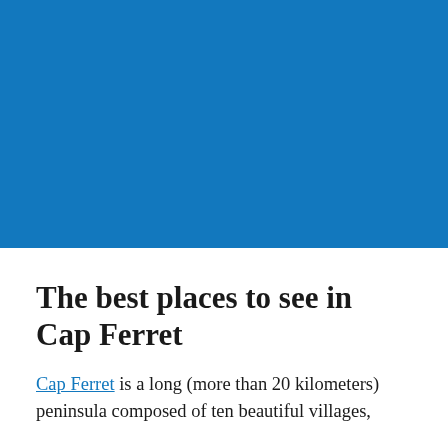[Figure (photo): Blue rectangle representing a photo placeholder of Cap Ferret scenery]
The best places to see in Cap Ferret
Cap Ferret is a long (more than 20 kilometers) peninsula composed of ten beautiful villages,